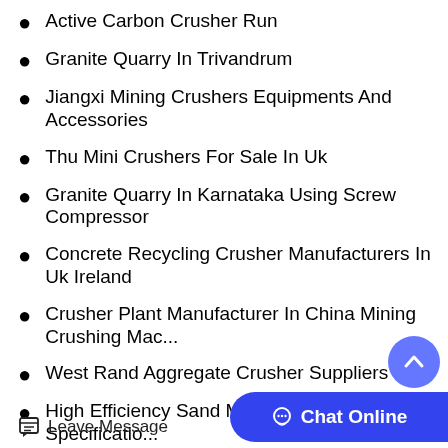Active Carbon Crusher Run
Granite Quarry In Trivandrum
Jiangxi Mining Crushers Equipments And Accessories
Thu Mini Crushers For Sale In Uk
Granite Quarry In Karnataka Using Screw Compressor
Concrete Recycling Crusher Manufacturers In Uk Ireland
Crusher Plant Manufacturer In China Mining Crushing Mac...
West Rand Aggregate Crusher Suppliers
High Efficiency Sand Machine All In one Model Specificatio...
Leave Message
Chat Online